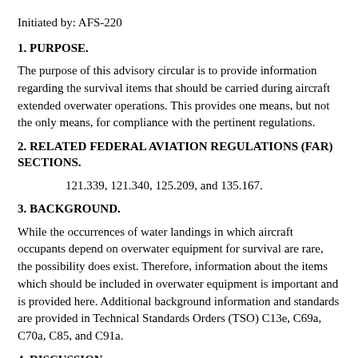Initiated by: AFS-220
1. PURPOSE.
The purpose of this advisory circular is to provide information regarding the survival items that should be carried during aircraft extended overwater operations. This provides one means, but not the only means, for compliance with the pertinent regulations.
2. RELATED FEDERAL AVIATION REGULATIONS (FAR) SECTIONS.
121.339, 121.340, 125.209, and 135.167.
3. BACKGROUND.
While the occurrences of water landings in which aircraft occupants depend on overwater equipment for survival are rare, the possibility does exist. Therefore, information about the items which should be included in overwater equipment is important and is provided here. Additional background information and standards are provided in Technical Standards Orders (TSO) C13e, C69a, C70a, C85, and C91a.
4. DISCUSSION.